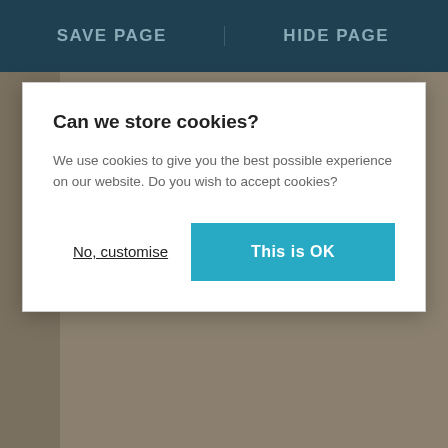SAVE PAGE | HIDE PAGE
[Figure (screenshot): Cookie consent modal dialog with title 'Can we store cookies?', body text, 'No, customise' link and 'This is OK' button]
a really clear picture of the bullying and how it’s affecting you.
You haven’t told me much about how the bullying has made you feel, but you’ve called your letter ‘suicidal’. It worries me that you might be feeling that way. When someone is being bullied it can really affect their confidence and self esteem. Sometimes when someone says mean or nasty things over and over to someone it can make that person wonder whether what those things